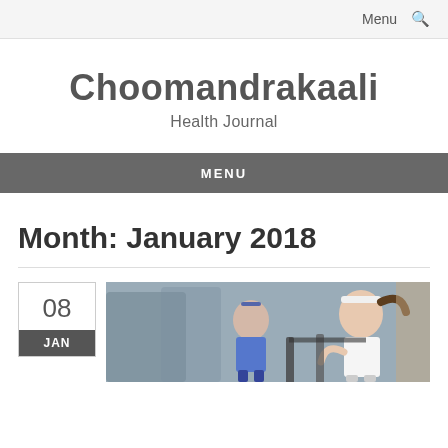Menu 🔍
Choomandrakaali
Health Journal
MENU
Month: January 2018
08 JAN
[Figure (photo): Women running on treadmills in a gym; closest woman wears a white headband and white outfit.]